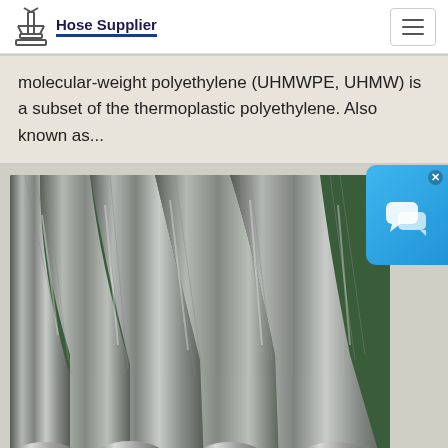Hose Supplier
molecular-weight polyethylene (UHMWPE, UHMW) is a subset of the thermoplastic polyethylene. Also known as...
[Figure (photo): Photo of multiple stainless steel braided hoses with metal end fittings arranged on a green surface, viewed from the connector end. Shows 4-5 flexible metal hoses with threaded female fittings.]